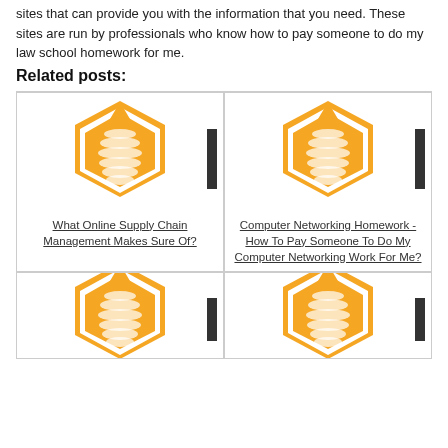sites that can provide you with the information that you need. These sites are run by professionals who know how to pay someone to do my law school homework for me.
Related posts:
[Figure (logo): Orange hexagon bee logo placeholder image for 'What Online Supply Chain Management Makes Sure Of?']
[Figure (logo): Orange hexagon bee logo placeholder image for 'Computer Networking Homework - How To Pay Someone To Do My Computer Networking Work For Me?']
[Figure (logo): Orange hexagon bee logo placeholder image (bottom left, partial)]
[Figure (logo): Orange hexagon bee logo placeholder image (bottom right, partial)]